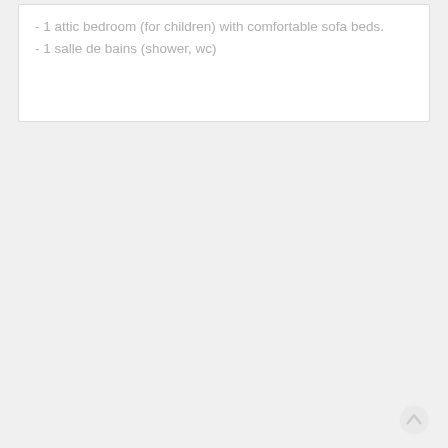- 1 attic bedroom (for children) with comfortable sofa beds.
- 1 salle de bains (shower, wc)